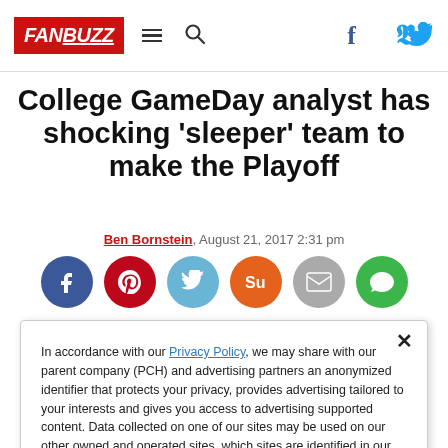FanBuzz navigation bar with logo, hamburger menu, search, Facebook and Twitter icons
College GameDay analyst has shocking 'sleeper' team to make the Playoff
Ben Bornstein, August 21, 2017 2:31 pm
[Figure (infographic): Social share buttons: Facebook (dark blue), Pinterest (red), Twitter (light blue), StumbleUpon (orange), Email (gray), Chat (green)]
In accordance with our Privacy Policy, we may share with our parent company (PCH) and advertising partners an anonymized identifier that protects your privacy, provides advertising tailored to your interests and gives you access to advertising supported content. Data collected on one of our sites may be used on our other owned and operated sites, which sites are identified in our Privacy Policy. All of our sites are governed by the same Privacy Policy, and by proceeding to access this site, you are consenting to that Privacy Policy.